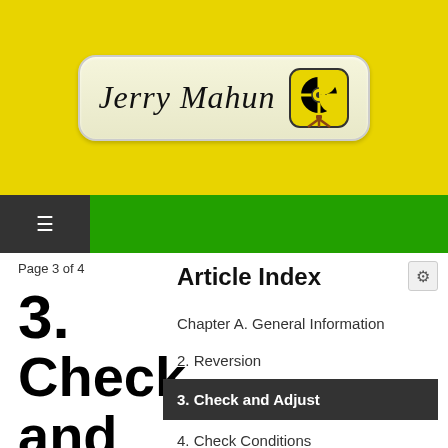Jerry Mahun
Page 3 of 4
Article Index
3. Check and Adjust
Chapter A. General Information
2. Reversion
3. Check and Adjust
4. Check Conditions
All Pages
There are a few things to keep in